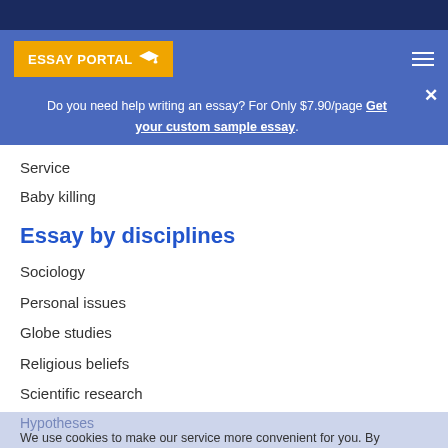ESSAY PORTAL
Do you need help writing an essay? For Only $7.90/page Get your custom sample essay.
Service
Baby killing
Essay by disciplines
Sociology
Personal issues
Globe studies
Religious beliefs
Scientific research
Profession
Technology and calculating
Hypotheses
We use cookies to make our service more convenient for you. By